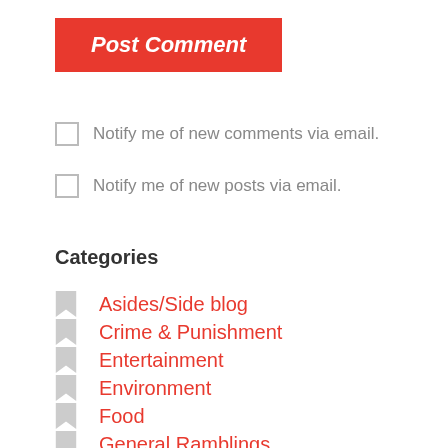Post Comment
Notify me of new comments via email.
Notify me of new posts via email.
Categories
Asides/Side blog
Crime & Punishment
Entertainment
Environment
Food
General Ramblings
Government
Gripes
Health